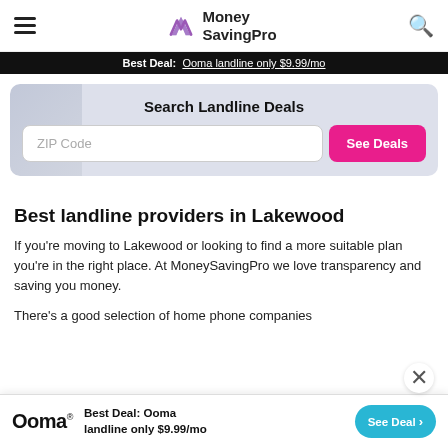MoneySavingPro
Best Deal: Ooma landline only $9.99/mo
[Figure (other): Search Landline Deals hero section with ZIP Code input and See Deals button]
Best landline providers in Lakewood
If you're moving to Lakewood or looking to find a more suitable plan you're in the right place. At MoneySavingPro we love transparency and saving you money.
There's a good selection of home phone companies
Best Deal: Ooma landline only $9.99/mo